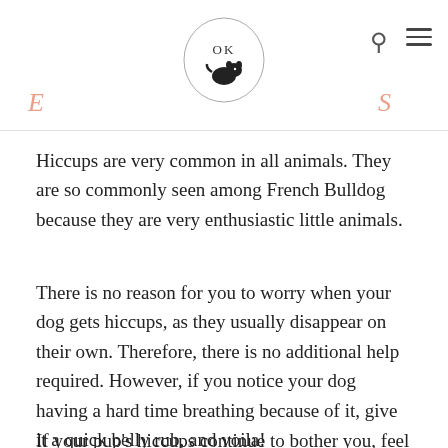OK Frenchies — website header with logo and navigation icons
Hiccups are very common in all animals. They are so commonly seen among French Bulldog because they are very enthusiastic little animals.
There is no reason for you to worry when your dog gets hiccups, as they usually disappear on their own. Therefore, there is no additional help required. However, if you notice your dog having a hard time breathing because of it, give it a quick belly rub, and voila!
If your pup's hiccups continue to bother you, feel free to use one of the tips mentioned above. That way, you can have peace of mind about the health of your dog!